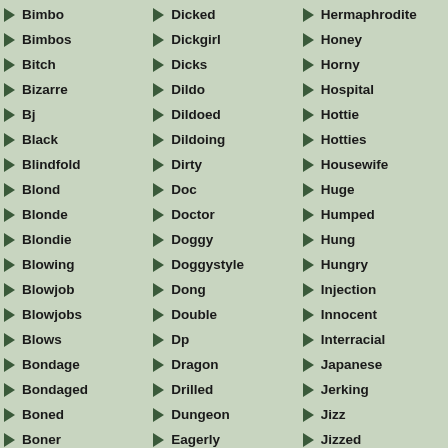Bimbo
Bimbos
Bitch
Bizarre
Bj
Black
Blindfold
Blond
Blonde
Blondie
Blowing
Blowjob
Blowjobs
Blows
Bondage
Bondaged
Boned
Boner
Boobed
Boobies
Dicked
Dickgirl
Dicks
Dildo
Dildoed
Dildoing
Dirty
Doc
Doctor
Doggy
Doggystyle
Dong
Double
Dp
Dragon
Drilled
Dungeon
Eagerly
Ebony
Elf
Hermaphrodite
Honey
Horny
Hospital
Hottie
Hotties
Housewife
Huge
Humped
Hung
Hungry
Injection
Innocent
Interracial
Japanese
Jerking
Jizz
Jizzed
Jizzload
Jugs